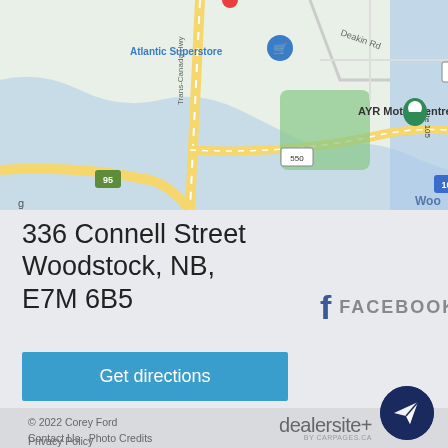[Figure (map): Google Maps screenshot showing AYR Motor Centre location in Woodstock, NB. Shows Trans-Canada Hwy, Atlantic Superstore, Deakin Rd, route numbers 585, 550, 95, 103, Rte 105, and a green map pin on AYR Motor Centre.]
336 Connell Street
Woodstock, NB,
E7M 6B5
f FACEBOOK
Get directions
© 2022 Corey Ford    Contact Us  Photo Credits  Privacy Policy    dealersite+ by CARPAGES.CA